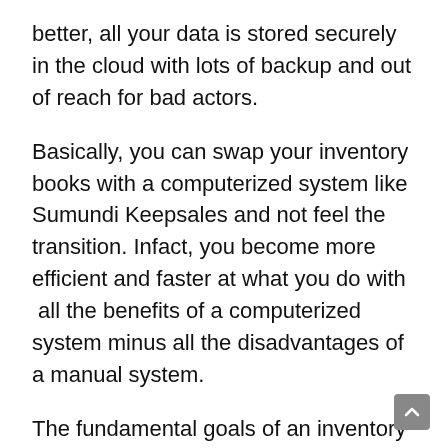better, all your data is stored securely in the cloud with lots of backup and out of reach for bad actors.
Basically, you can swap your inventory books with a computerized system like Sumundi Keepsales and not feel the transition. Infact, you become more efficient and faster at what you do with  all the benefits of a computerized system minus all the disadvantages of a manual system.
The fundamental goals of an inventory control system whether manual or computerized is to help you control costs,